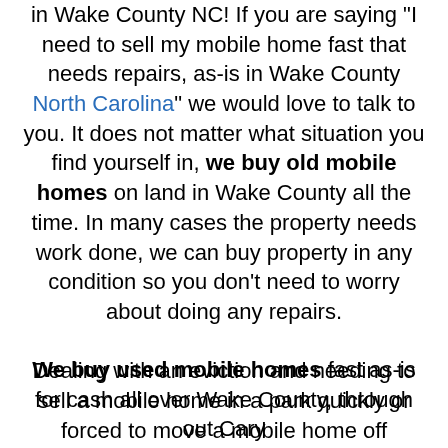in Wake County NC! If you are saying "I need to sell my mobile home fast that needs repairs, as-is in Wake County North Carolina" we would love to talk to you. It does not matter what situation you find yourself in, we buy old mobile homes on land in Wake County all the time. In many cases the property needs work done, we can buy property in any condition so you don't need to worry about doing any repairs. Dealing with an eviction and needing to sell a mobile home in a park quickly or forced to move a mobile home off someones land, we can help.
We buy used mobile homes fast as-is for cash all over Wake County, through out Cary